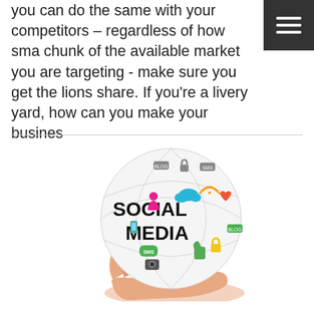you can do the same with your competitors – regardless of how small a chunk of the available market you are targeting - make sure you get the lions share. If you're a livery yard, how can you make your busines
[Figure (illustration): A hand holding a globe decorated with colorful social media icons (cloud, WiFi, heart, thumbs up, lock, camera, SMS bubble, etc.) with the text 'SOCIAL MEDIA' in bold black letters on the globe.]
...